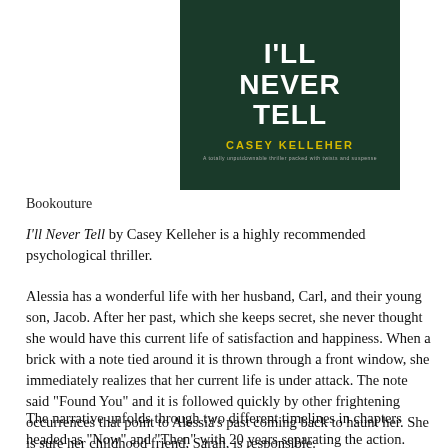[Figure (illustration): Book cover of 'I'll Never Tell' by Casey Kelleher. Dark green background with large white bold title text and yellow author name. Small subtitle text below author name.]
Bookouture
I'll Never Tell by Casey Kelleher is a highly recommended psychological thriller.
Alessia has a wonderful life with her husband, Carl, and their young son, Jacob. After her past, which she keeps secret, she never thought she would have this current life of satisfaction and happiness. When a brick with a note tied around it is thrown through a front window, she immediately realizes that her current life is under attack. The note said "Found You" and it is followed quickly by other frightening occurrences that point to Alessia's past coming back to haunt her. She is sure her childhood friend, Sarah, is responsible.
The narrative unfolds through two different timelines in chapters headed as "Now" and "Then" with 20 years separating the action. Emma-Jayne, 18, is her friend and Sarah, 18, and the two lead him to also lead and